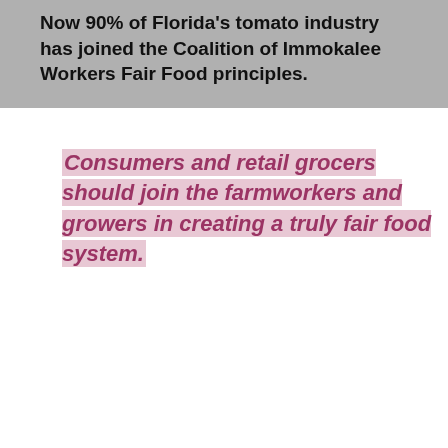Now 90% of Florida's tomato industry has joined the Coalition of Immokalee Workers Fair Food principles.
Consumers and retail grocers should join the farmworkers and growers in creating a truly fair food system.